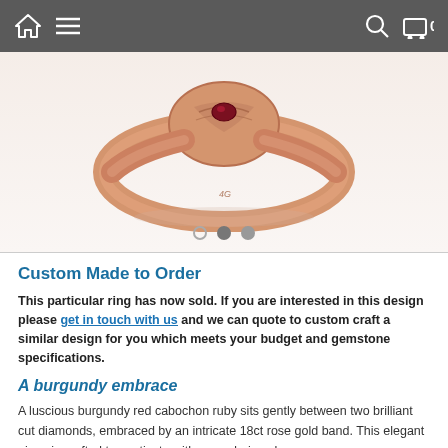[Figure (screenshot): Navigation bar with home icon, hamburger menu, search icon, and cart icon showing 0 items on a dark grey background]
[Figure (photo): Close-up photograph of a rose gold ring with a burgundy red cabochon ruby between two diamonds, shown against a light background with image carousel dots below]
Custom Made to Order
This particular ring has now sold. If you are interested in this design please get in touch with us and we can quote to custom craft a similar design for you which meets your budget and gemstone specifications.
A burgundy embrace
A luscious burgundy red cabochon ruby sits gently between two brilliant cut diamonds, embraced by an intricate 18ct rose gold band. This elegant piece is crafted to captivate with an enduring charm.